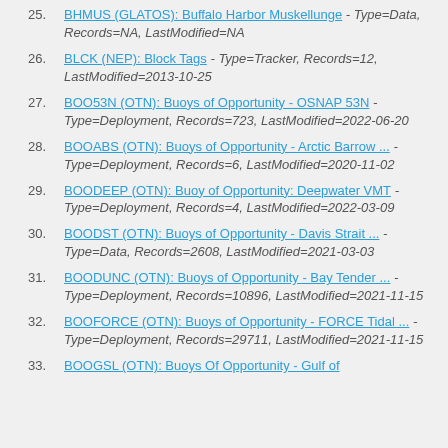25. BHMUS (GLATOS): Buffalo Harbor Muskellunge - Type=Data, Records=NA, LastModified=NA
26. BLCK (NEP): Block Tags - Type=Tracker, Records=12, LastModified=2013-10-25
27. BOO53N (OTN): Buoys of Opportunity - OSNAP 53N - Type=Deployment, Records=723, LastModified=2022-06-20
28. BOOABS (OTN): Buoys of Opportunity - Arctic Barrow ... - Type=Deployment, Records=6, LastModified=2020-11-02
29. BOODEEP (OTN): Buoy of Opportunity: Deepwater VMT - Type=Deployment, Records=4, LastModified=2022-03-09
30. BOODST (OTN): Buoys of Opportunity - Davis Strait ... - Type=Data, Records=2608, LastModified=2021-03-03
31. BOODUNC (OTN): Buoys of Opportunity - Bay Tender ... - Type=Deployment, Records=10896, LastModified=2021-11-15
32. BOOFORCE (OTN): Buoys of Opportunity - FORCE Tidal ... - Type=Deployment, Records=29711, LastModified=2021-11-15
33. BOOGSL (OTN): Buoys Of Opportunity - Gulf of